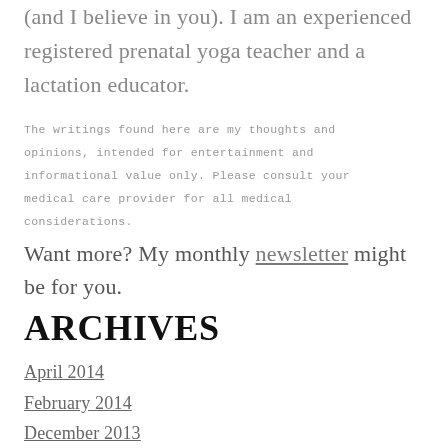(and I believe in you). I am an experienced registered prenatal yoga teacher and a lactation educator.
The writings found here are my thoughts and opinions, intended for entertainment and informational value only. Please consult your medical care provider for all medical considerations.
Want more? My monthly newsletter might be for you.
ARCHIVES
April 2014
February 2014
December 2013
September 2013
July 2013